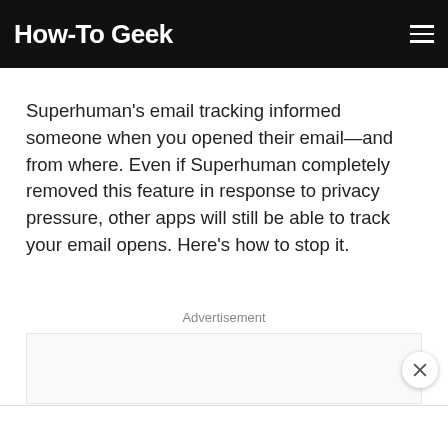How-To Geek
Superhuman's email tracking informed someone when you opened their email—and from where. Even if Superhuman completely removed this feature in response to privacy pressure, other apps will still be able to track your email opens. Here's how to stop it.
Advertisement